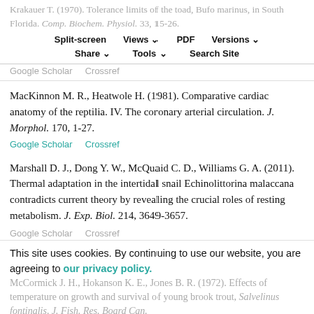Krakauer T. (1970). Tolerance limits of the toad, Bufo marinus, in South Florida. Comp. Biochem. Physiol. 33, 15-26.
Split-screen | Views | PDF | Versions | Share | Tools | Search Site
Google Scholar   Crossref
MacKinnon M. R., Heatwole H. (1981). Comparative cardiac anatomy of the reptilia. IV. The coronary arterial circulation. J. Morphol. 170, 1-27.
Google Scholar   Crossref
Marshall D. J., Dong Y. W., McQuaid C. D., Williams G. A. (2011). Thermal adaptation in the intertidal snail Echinolittorina malaccana contradicts current theory by revealing the crucial roles of resting metabolism. J. Exp. Biol. 214, 3649-3657.
Google Scholar   Crossref
McCormick J. H., Hokanson K. E., Jones B. R. (1972). Effects of temperature on growth and survival of young brook trout, Salvelinus fontinalis. J. Fish. Res. Board Can.
This site uses cookies. By continuing to use our website, you are agreeing to our privacy policy. Accept